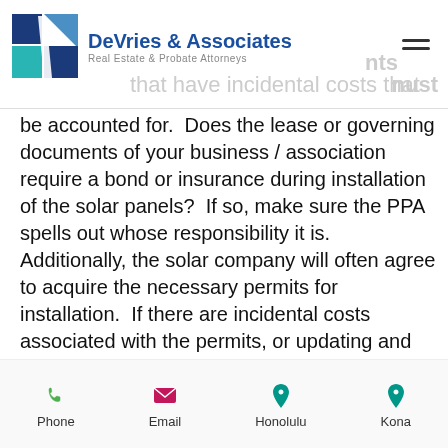DeVries & Associates — Real Estate & Probate Attorneys
of the PPA because the solar...nts that have incidental costs that must be accounted for.  Does the lease or governing documents of your business / association require a bond or insurance during installation of the solar panels?  If so, make sure the PPA spells out whose responsibility it is.  Additionally, the solar company will often agree to acquire the necessary permits for installation.  If there are incidental costs associated with the permits, or updating and renewing the permits as necessary,
Phone  Email  Honolulu  Kona